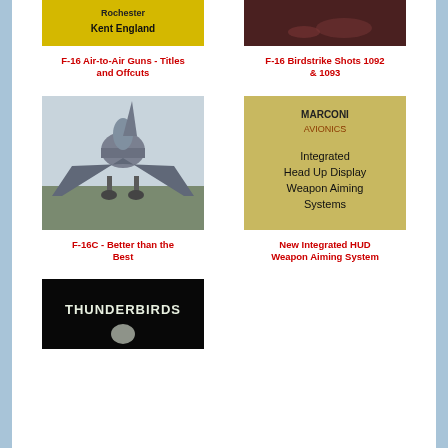[Figure (photo): Yellow sign reading Rochester Kent England]
F-16 Air-to-Air Guns - Titles and Offcuts
[Figure (photo): Dark reddish photo, possibly aircraft or equipment]
F-16 Birdstrike Shots 1092 & 1093
[Figure (photo): Front view of F-16C fighter jet on runway]
F-16C - Better than the Best
[Figure (photo): Marconi Avionics title card reading Integrated Head Up Display Weapon Aiming Systems]
New Integrated HUD Weapon Aiming System
[Figure (photo): Dark screen with Thunderbirds text and logo]
Thunderbirds